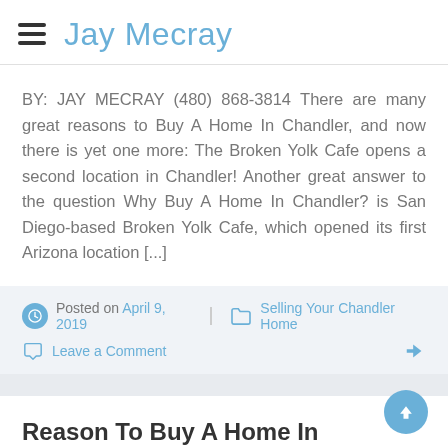Jay Mecray
BY: JAY MECRAY (480) 868-3814 There are many great reasons to Buy A Home In Chandler, and now there is yet one more: The Broken Yolk Cafe opens a second location in Chandler! Another great answer to the question Why Buy A Home In Chandler? is San Diego-based Broken Yolk Cafe, which opened its first Arizona location [...]
Posted on April 9, 2019   Selling Your Chandler Home   Leave a Comment
Reason To Buy A Home In Chandler
by jay mecray (480) 868-3814